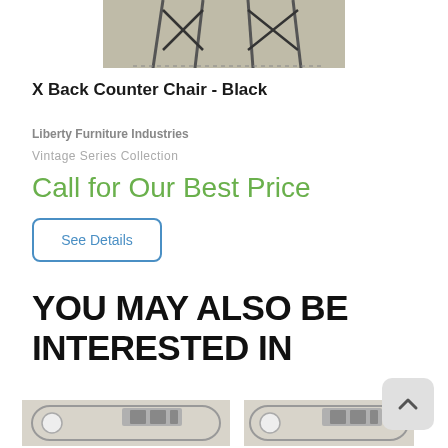[Figure (photo): Partial photo of an X Back Counter Chair - Black, showing metal legs and X-back design against a light background]
X Back Counter Chair - Black
Liberty Furniture Industries
Vintage Series Collection
Call for Our Best Price
See Details
YOU MAY ALSO BE INTERESTED IN
[Figure (photo): Thumbnail image of a furniture item (left)]
[Figure (photo): Thumbnail image of a furniture item (right), partially obscured by scroll-to-top button]